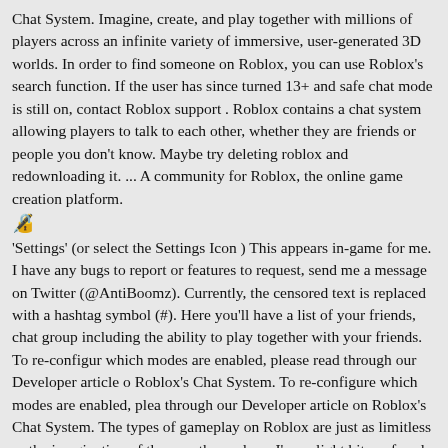Chat System. Imagine, create, and play together with millions of players across an infinite variety of immersive, user-generated 3D worlds. In order to find someone on Roblox, you can use Roblox's search function. If the user has since turned 13+ and safe chat mode is still on, contact Roblox support . Roblox contains a chat system allowing players to talk to each other, whether they are friends or people you don't know. Maybe try deleting roblox and redownloading it. ... A community for Roblox, the online game creation platform.
🔏
'Settings' (or select the Settings Icon ) This appears in-game for me. If have any bugs to report or features to request, send me a message on Twitter (@AntiBoomz). Currently, the censored text is replaced with a hashtag symbol (#). Here you'll have a list of your friends, chat groups including the ability to play together with your friends. To re-configure which modes are enabled, please read through our Developer article on Roblox's Chat System. To re-configure which modes are enabled, please read through our Developer article on Roblox's Chat System. The types of gameplay on Roblox are just as limitless as the imagination of the creators themselves. I'm a slight bit confused, I rarely play on Xbox ever, but I never even had a chat feature. It is a service, so it cannot be instantiated. Roblox also has a useful feature called 'Age Visibility' to determine settings f